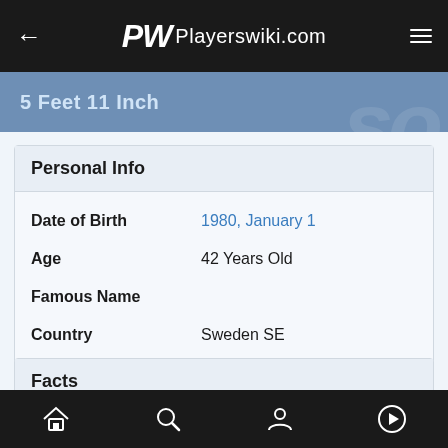Playerswiki.com
5 Feet 11 Inch
Personal Info
| Field | Value |
| --- | --- |
| Date of Birth | 1980, January 1 |
| Age | 42 Years Old |
| Famous Name |  |
| Country | Sweden SE |
Facts
| Field | Value |
| --- | --- |
| Birth Name | Elin Maria Pernilla Nordegren |
Home Search Profile Play